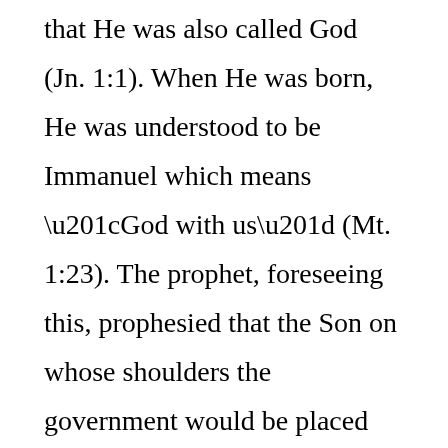that He was also called God (Jn. 1:1). When He was born, He was understood to be Immanuel which means “God with us” (Mt. 1:23). The prophet, foreseeing this, prophesied that the Son on whose shoulders the government would be placed was “Mighty God” (Isa. 9:6-7). When Thomas saw the resurrected body of Jesus, He said, “My Lord and my God” (Jn. 20:28). Consequently, the apostle John wrote, “And we know that the Son of God has come, and has given us understanding, in order that we might know